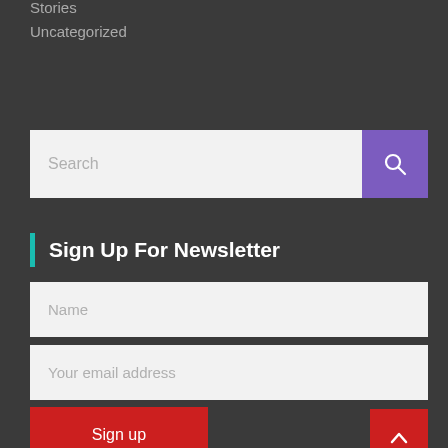Stories
Uncategorized
[Figure (other): Search input field with purple search button containing a magnifying glass icon]
Sign Up For Newsletter
Name
Your email address
Sign up
[Figure (other): Red back-to-top button with upward caret arrow]
Official Music Video Released
A New York State Of Mind – The Apple Hip Hop (Official Music